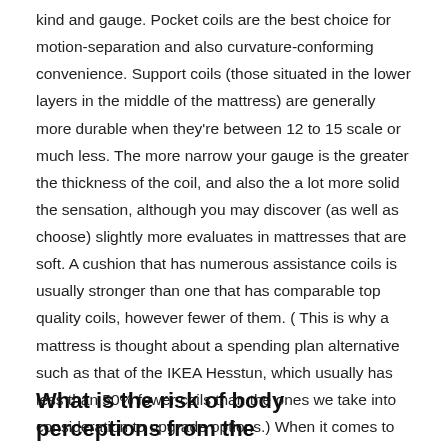kind and gauge. Pocket coils are the best choice for motion-separation and also curvature-conforming convenience. Support coils (those situated in the lower layers in the middle of the mattress) are generally more durable when they're between 12 to 15 scale or much less. The more narrow your gauge is the greater the thickness of the coil, and also the a lot more solid the sensation, although you may discover (as well as choose) slightly more evaluates in mattresses that are soft. A cushion that has numerous assistance coils is usually stronger than one that has comparable top quality coils, however fewer of them. ( This is why a mattress is thought about a spending plan alternative such as that of the IKEA Hesstun, which usually has less than 50% fewer coils than the ones we take into consideration to upgrade options.) When it comes to less costly innerspring, they can accomplish the same suppleness, but not making use of more thick coils, yet instead using other techniques like positioning coils closer close.
What is the risk of body perceptions from the